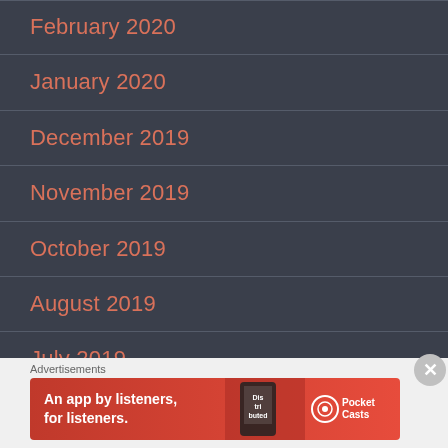February 2020
January 2020
December 2019
November 2019
October 2019
August 2019
July 2019
June 2019
April 2019
Advertisements
[Figure (illustration): Pocket Casts advertisement banner: red background with phone graphic, text 'An app by listeners, for listeners.' and Pocket Casts logo]